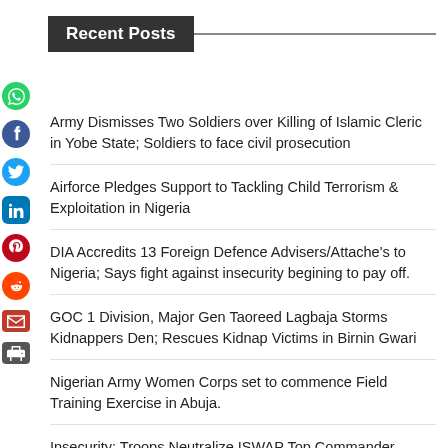Recent Posts
Army Dismisses Two Soldiers over Killing of Islamic Cleric in Yobe State; Soldiers to face civil prosecution
Airforce Pledges Support to Tackling Child Terrorism & Exploitation in Nigeria
DIA Accredits 13 Foreign Defence Advisers/Attache's to Nigeria; Says fight against insecurity begining to pay off.
GOC 1 Division, Major Gen Taoreed Lagbaja Storms Kidnappers Den; Rescues Kidnap Victims in Birnin Gwari
Nigerian Army Women Corps set to commence Field Training Exercise in Abuja.
Insecurity: Troops Neutralize ISWAP Top Commander, 'Uzaifa' and 37 others; Rescue 20 Kidnap Victim's; Raid Terrorists Hideouts in Abuja, nab 8 Terrorists, recover 5 AK47 rifles & 3